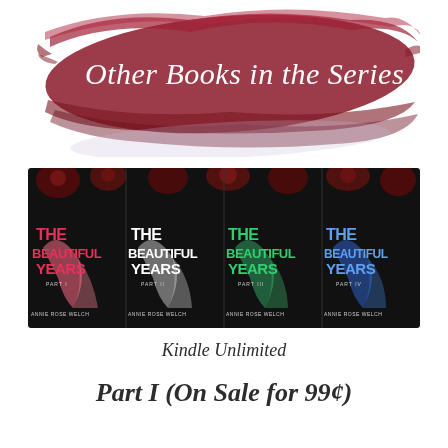[Figure (illustration): Red brushstroke banner with cursive white text reading 'Other Books in the Series']
[Figure (photo): Four book covers of 'The Beautiful Years' Parts I-IV by Annie Rose Welch arranged side by side on a dark background with roses]
Kindle Unlimited
Part I (On Sale for 99¢)